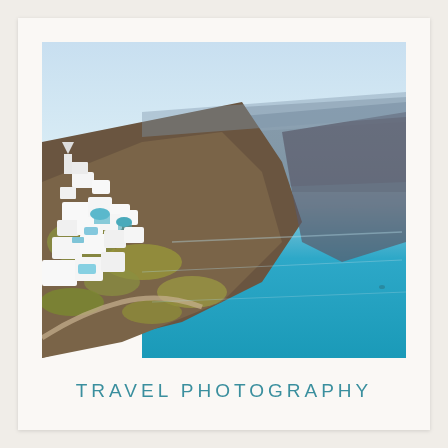[Figure (photo): Aerial view of Santorini, Greece, showing white-washed buildings with blue accents clinging to volcanic cliffs above a vivid turquoise blue caldera sea, with a large rocky cliff formation in the background under a hazy blue sky.]
TRAVEL PHOTOGRAPHY